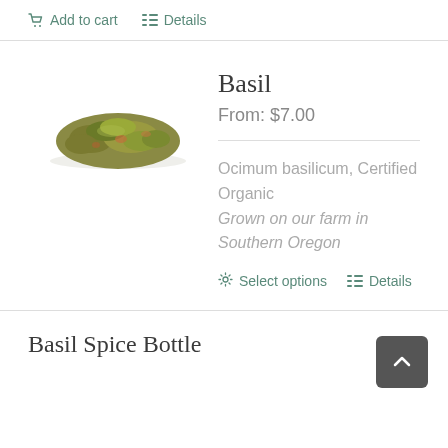Add to cart   Details
[Figure (photo): Dried basil herb pile photo]
Basil
From: $7.00
Ocimum basilicum, Certified Organic
Grown on our farm in Southern Oregon
Select options   Details
Basil Spice Bottle